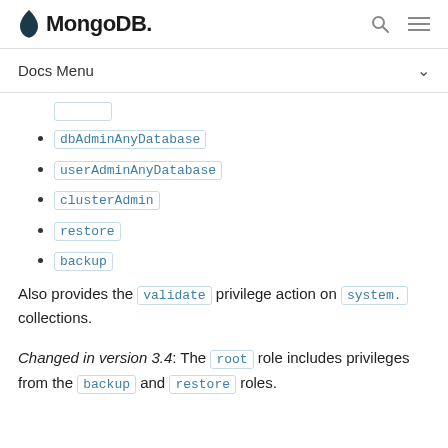MongoDB [logo] [search] [menu]
Docs Menu
dbAdminAnyDatabase
userAdminAnyDatabase
clusterAdmin
restore
backup
Also provides the validate privilege action on system. collections.
Changed in version 3.4: The root role includes privileges from the backup and restore roles.